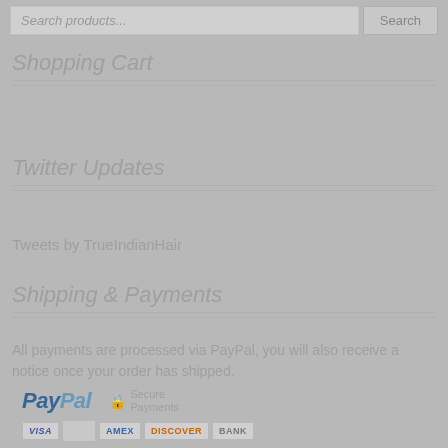Search products... Search
Shopping Cart
Twitter Updates
Tweets by TrueIndianHair
Shipping & Payments
All payments are processed via PayPal, you will also receive a notice once your order has shipped.
[Figure (logo): PayPal logo and Secure Payments icon]
[Figure (logo): Payment card logos: VISA, Mastercard, American Express, Discover, Bank]